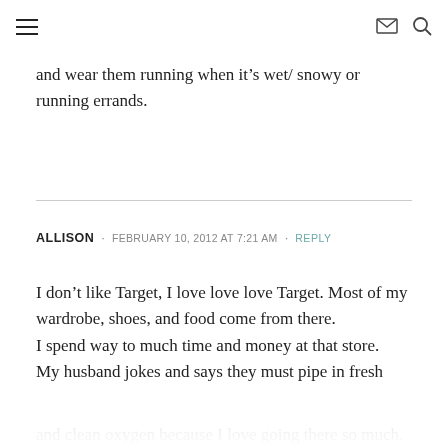≡  ✉  🔍
and wear them running when it's wet/ snowy or running errands.
ALLISON · FEBRUARY 10, 2012 AT 7:21 AM · REPLY
I don't like Target, I love love love Target. Most of my wardrobe, shoes, and food come from there. I spend way to much time and money at that store. My husband jokes and says they must pipe in fresh and clean oxygen because I love going there so much.